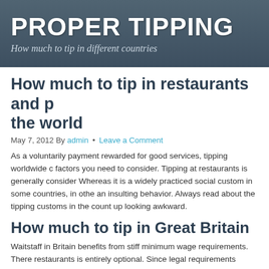PROPER TIPPING
How much to tip in different countries
How much to tip in restaurants and p… the world
May 7, 2012 By admin • Leave a Comment
As a voluntarily payment rewarded for good services, tipping worldwide c… factors you need to consider. Tipping at restaurants is generally consider… Whereas it is a widely practiced social custom in some countries, in othe… an insulting behavior. Always read about the tipping customs in the coun… up looking awkward.
How much to tip in Great Britain
Waitstaff in Britain benefits from stiff minimum wage requirements. There… restaurants is entirely optional. Since legal requirements regulate all taxe… included in price, any additional charges are unusual. However some res…